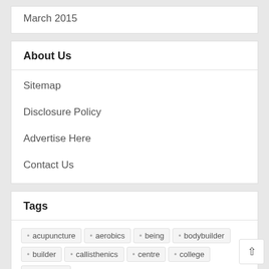March 2015
About Us
Sitemap
Disclosure Policy
Advertise Here
Contact Us
Tags
acupuncture
aerobics
being
bodybuilder
builder
callisthenics
centre
college
coverage
depression
drinks
eating
education
exercise
fitness
foods
group
health
healthcare